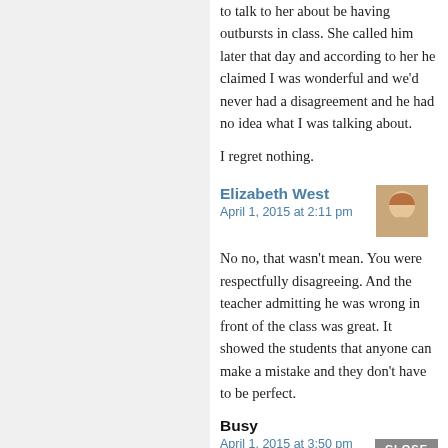to talk to her about be having outbursts in class. She called him later that day and according to her he claimed I was wonderful and we'd never had a disagreement and he had no idea what I was talking about.
I regret nothing.
Elizabeth West
April 1, 2015 at 2:11 pm
No no, that wasn't mean. You were respectfully disagreeing. And the teacher admitting he was wrong in front of the class was great. It showed the students that anyone can make a mistake and they don't have to be perfect.
Busy
April 1, 2015 at 3:50 pm
I never thought of it that way, Elizabeth West, but that's a really good point. Thanks, Mr. Triola (I did mention it was PA, right?)